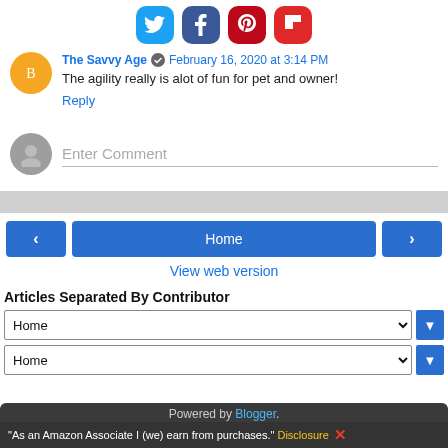[Figure (other): Social share icons row: Twitter (blue), Facebook (dark blue), Pinterest (red), Flipboard (red)]
The Savvy Age  February 16, 2020 at 3:14 PM
The agility really is alot of fun for pet and owner!
Reply
Enter Comment
Home
View web version
Articles Separated By Contributor
Home
Home
Powered by Blogger.
"As an Amazon Associate I (we) earn from purchases." Disclosure X